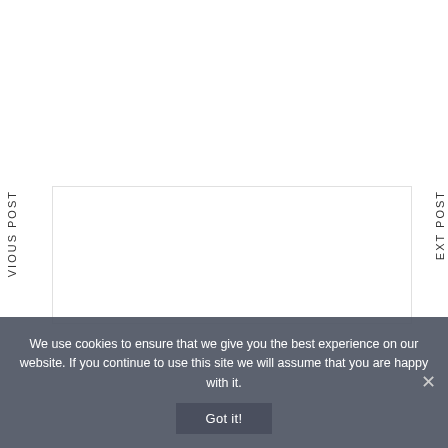VIOUS POST
EXT POST
We use cookies to ensure that we give you the best experience on our website. If you continue to use this site we will assume that you are happy with it.
Got it!